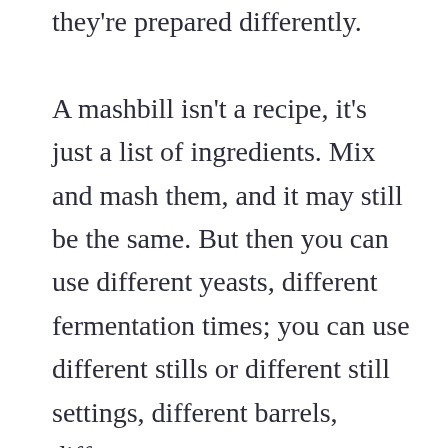they're prepared differently.

A mashbill isn't a recipe, it's just a list of ingredients. Mix and mash them, and it may still be the same. But then you can use different yeasts, different fermentation times; you can use different stills or different still settings, different barrels, different...